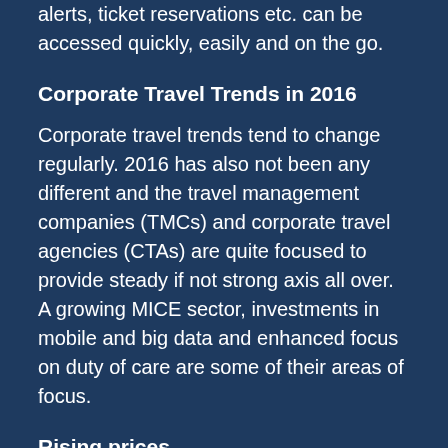alerts, ticket reservations etc. can be accessed quickly, easily and on the go.
Corporate Travel Trends in 2016
Corporate travel trends tend to change regularly. 2016 has also not been any different and the travel management companies (TMCs) and corporate travel agencies (CTAs) are quite focused to provide steady if not strong axis all over. A growing MICE sector, investments in mobile and big data and enhanced focus on duty of care are some of their areas of focus.
Rising prices
The consolidated buzzword among global suppliers, airfares, hotel rates etc. is the rising fares. It is sometimes the move of the suppliers to generate discounts which encourage travel if there is a strong